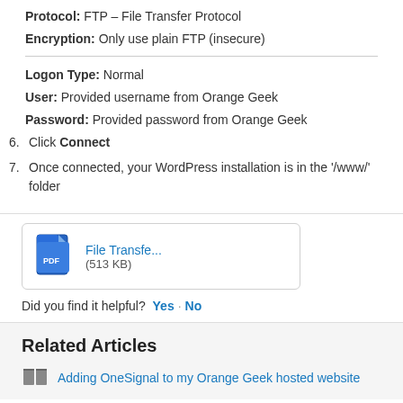Protocol: FTP – File Transfer Protocol
Encryption: Only use plain FTP (insecure)
Logon Type: Normal
User: Provided username from Orange Geek
Password: Provided password from Orange Geek
6. Click Connect
7. Once connected, your WordPress installation is in the '/www/' folder
[Figure (other): PDF file attachment icon with blue document graphic]
File Transfe... (513 KB)
Did you find it helpful? Yes · No
Related Articles
Adding OneSignal to my Orange Geek hosted website